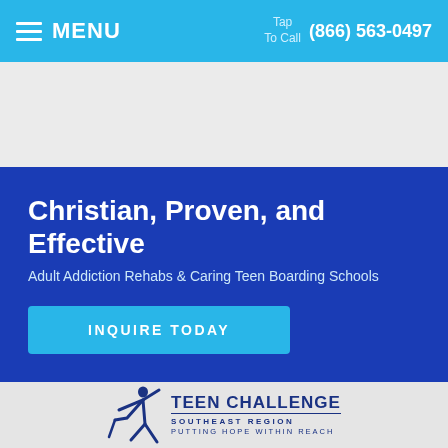MENU  Tap To Call (866) 563-0497
Christian, Proven, and Effective
Adult Addiction Rehabs & Caring Teen Boarding Schools
INQUIRE TODAY
[Figure (logo): Teen Challenge Southeast Region - Putting Hope Within Reach logo with star figure]